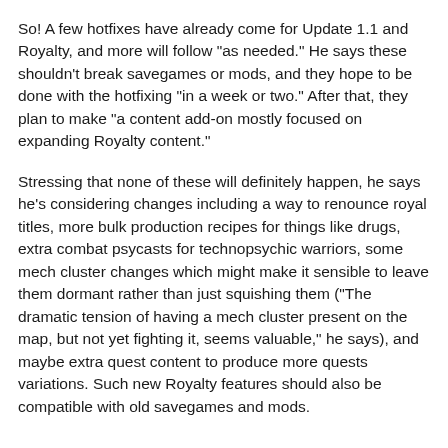So! A few hotfixes have already come for Update 1.1 and Royalty, and more will follow "as needed." He says these shouldn't break savegames or mods, and they hope to be done with the hotfixing "in a week or two." After that, they plan to make "a content add-on mostly focused on expanding Royalty content."
Stressing that none of these will definitely happen, he says he's considering changes including a way to renounce royal titles, more bulk production recipes for things like drugs, extra combat psycasts for technopsychic warriors, some mech cluster changes which might make it sensible to leave them dormant rather than just squishing them ("The dramatic tension of having a mech cluster present on the map, but not yet fighting it, seems valuable," he says), and maybe extra quest content to produce more quests variations. Such new Royalty features should also be compatible with old savegames and mods.